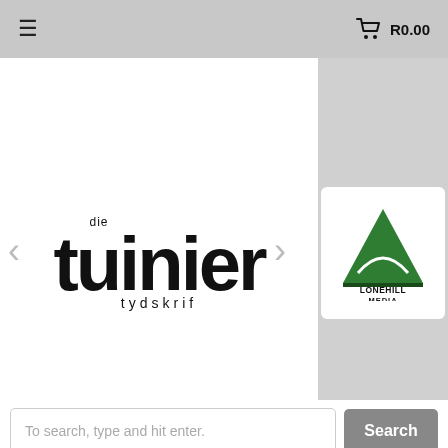≡   R0.00
[Figure (logo): Die Tuinier Tydskrif brand logo — large bold 'tuinier' text with 'die' above and 'tydskrif' below]
[Figure (logo): Lonehill Media logo — green triangle with 'LONEHILL MEDIA' text]
To search, type and hit enter.
oo
PLANTS A-Z ⌄   DIY   FEATURED POSTS
PLANT TYPES ⌄   POLLINATORS
PRACTICAL GARDENING ⌄   SEASONS ⌄